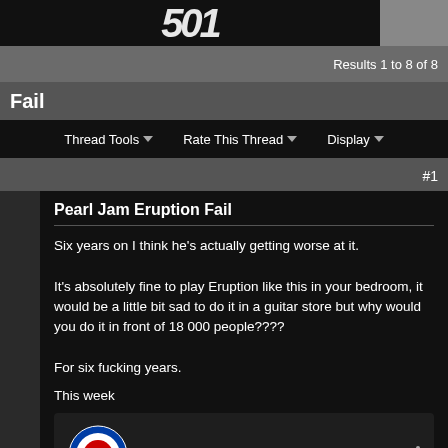[Figure (screenshot): Top cropped banner image showing partial bold italic text on dark background]
Results 1 to 8 of 8
Fail
Thread Tools   Rate This Thread   Display
#1
Pearl Jam Eruption Fail
Six years on I think he's actually getting worse at it.

It's absolutely fine to play Eruption like this in your bedroom, it would be a little bit sad to do it in a guitar store but why would you do it in front of 18 000 people????

For six fucking years.
This week
[Figure (screenshot): YouTube video embed thumbnail showing RAF roundel icon and title: PEARL JAM : "Eruption" (Eddie ...]